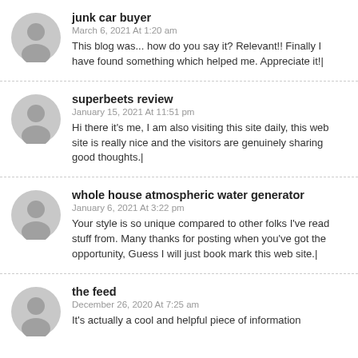junk car buyer
March 6, 2021 At 1:20 am
This blog was... how do you say it? Relevant!! Finally I have found something which helped me. Appreciate it!|
superbeets review
January 15, 2021 At 11:51 pm
Hi there it's me, I am also visiting this site daily, this web site is really nice and the visitors are genuinely sharing good thoughts.|
whole house atmospheric water generator
January 6, 2021 At 3:22 pm
Your style is so unique compared to other folks I've read stuff from. Many thanks for posting when you've got the opportunity, Guess I will just book mark this web site.|
the feed
December 26, 2020 At 7:25 am
It's actually a cool and helpful piece of information